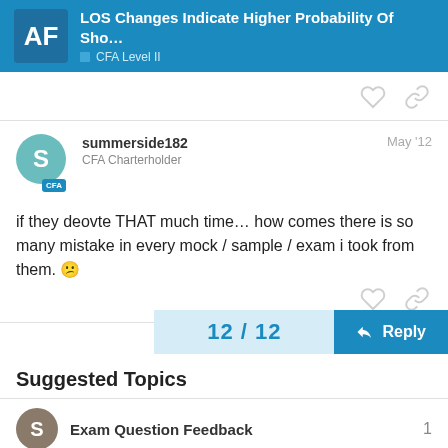LOS Changes Indicate Higher Probability Of Sho… | CFA Level II
summerside182  May '12
CFA Charterholder
if they deovte THAT much time… how comes there is so many mistake in every mock / sample / exam i took from them. 😕
12 / 12
Suggested Topics
Exam Question Feedback  1